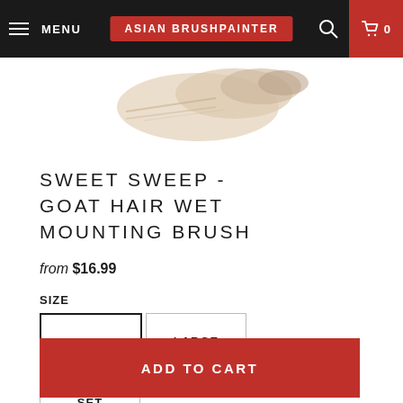MENU | ASIAN BRUSHPAINTER | 0
[Figure (photo): Partial view of a goat hair wet mounting brush, showing the bristle/ferrule area, on white background]
SWEET SWEEP - GOAT HAIR WET MOUNTING BRUSH
from $16.99
SIZE
SMALL
LARGE
SET
ADD TO CART